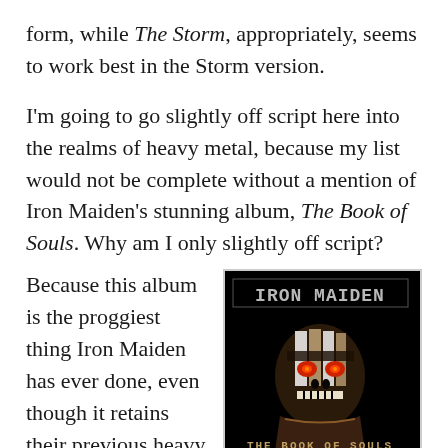form, while The Storm, appropriately, seems to work best in the Storm version.
I'm going to go slightly off script here into the realms of heavy metal, because my list would not be complete without a mention of Iron Maiden's stunning album, The Book of Souls. Why am I only slightly off script? Because this album is the proggiest thing Iron Maiden has ever done, even though it retains their previous heavy metal elements. While this album is excellent from start to finish, the
[Figure (photo): Album cover of Iron Maiden's 'The Book of Souls' — black background with 'IRON MAIDEN' in stylized font at top and a skull-faced creature (Eddie) below, with 'THE BOOK OF SOULS' text at bottom.]